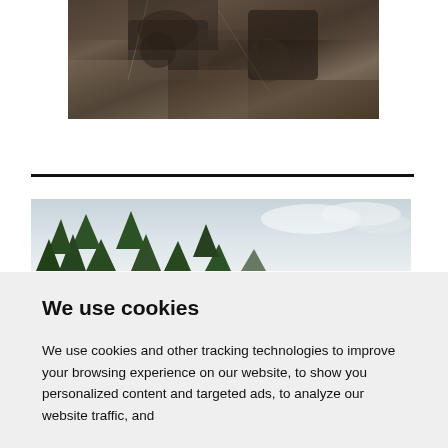[Figure (photo): A person handling rocks and debris outdoors, with dark rocks and organic material visible in the foreground.]
[Figure (photo): A landscape photo showing tall evergreen trees (likely pine or fir) against a cloudy sky.]
We use cookies
We use cookies and other tracking technologies to improve your browsing experience on our website, to show you personalized content and targeted ads, to analyze our website traffic, and